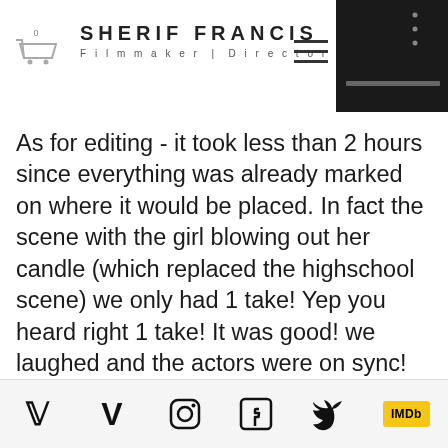SHERIF FRANCIS Filmmaker | Director
As for editing - it took less than 2 hours since everything was already marked on where it would be placed. In fact the scene with the girl blowing out her candle (which replaced the highschool scene) we only had 1 take! Yep you heard right 1 take! It was good! we laughed and the actors were on sync! Plus it needed very little color correction and processing..since we filmed it with the real deal, the legendary Sony
Vimeo | Instagram | Facebook | Twitter | IMDb